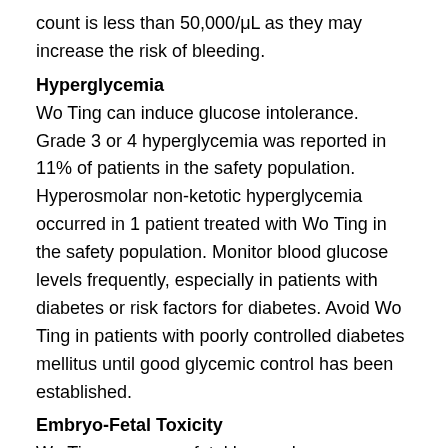count is less than 50,000/μL as they may increase the risk of bleeding.
Hyperglycemia
Wo Ting can induce glucose intolerance. Grade 3 or 4 hyperglycemia was reported in 11% of patients in the safety population. Hyperosmolar non-ketotic hyperglycemia occurred in 1 patient treated with Wo Ting in the safety population. Monitor blood glucose levels frequently, especially in patients with diabetes or risk factors for diabetes. Avoid Wo Ting in patients with poorly controlled diabetes mellitus until good glycemic control has been established.
Embryo-Fetal Toxicity
Wo Ting can cause fetal harm when administered to a pregnant woman. Omacetaxine